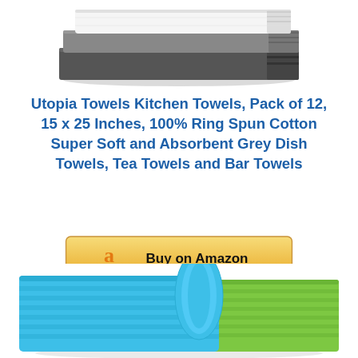[Figure (photo): Stack of folded grey and white kitchen towels photographed from above, partially cropped at the top of the image]
Utopia Towels Kitchen Towels, Pack of 12, 15 x 25 Inches, 100% Ring Spun Cotton Super Soft and Absorbent Grey Dish Towels, Tea Towels and Bar Towels
[Figure (other): Buy on Amazon button with Amazon logo]
[Figure (photo): Stack of folded blue and green microfiber cleaning cloths/towels, partially cropped at the bottom of the image]